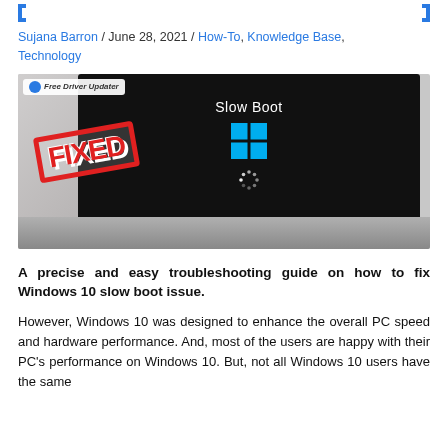Sujana Barron / June 28, 2021 / How-To, Knowledge Base, Technology
[Figure (photo): Laptop with black screen showing 'Slow Boot' text, Windows logo, and loading spinner. A red 'FIXED' stamp overlay is on the left. A 'Free Driver Updater' badge is in the top-left corner.]
A precise and easy troubleshooting guide on how to fix Windows 10 slow boot issue.
However, Windows 10 was designed to enhance the overall PC speed and hardware performance. And, most of the users are happy with their PC's performance on Windows 10. But, not all Windows 10 users have the same